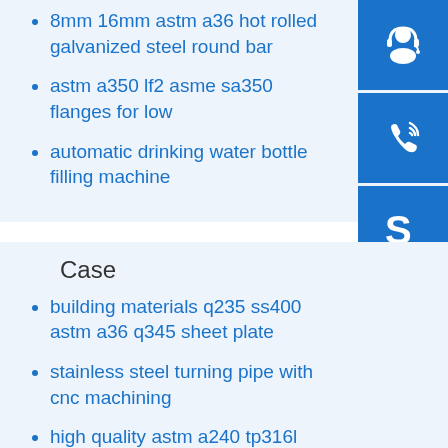8mm 16mm astm a36 hot rolled galvanized steel round bar
astm a350 lf2 asme sa350 flanges for low
automatic drinking water bottle filling machine
[Figure (illustration): Headset/support icon in blue square]
[Figure (illustration): Phone/call icon in blue square]
[Figure (illustration): Skype icon in blue square]
Case
building materials q235 ss400 astm a36 q345 sheet plate
stainless steel turning pipe with cnc machining
high quality astm a240 tp316l stainless steel sheet
hot sale price tianjin factory made q235 steel tube